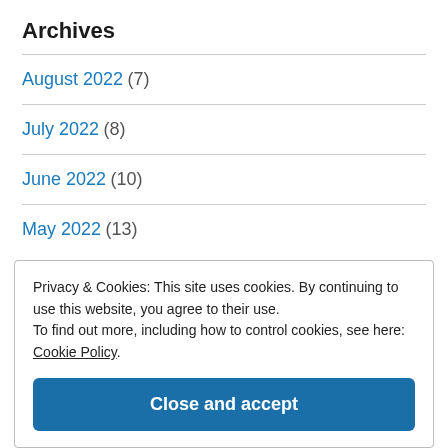Archives
August 2022 (7)
July 2022 (8)
June 2022 (10)
May 2022 (13)
Privacy & Cookies: This site uses cookies. By continuing to use this website, you agree to their use. To find out more, including how to control cookies, see here: Cookie Policy
Close and accept
December 2021 (5)